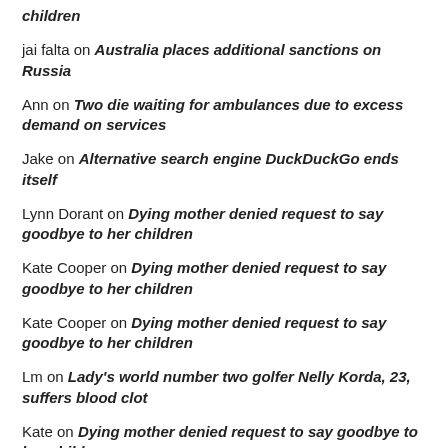children
jai falta on Australia places additional sanctions on Russia
Ann on Two die waiting for ambulances due to excess demand on services
Jake on Alternative search engine DuckDuckGo ends itself
Lynn Dorant on Dying mother denied request to say goodbye to her children
Kate Cooper on Dying mother denied request to say goodbye to her children
Kate Cooper on Dying mother denied request to say goodbye to her children
Lm on Lady's world number two golfer Nelly Korda, 23, suffers blood clot
Kate on Dying mother denied request to say goodbye to her children